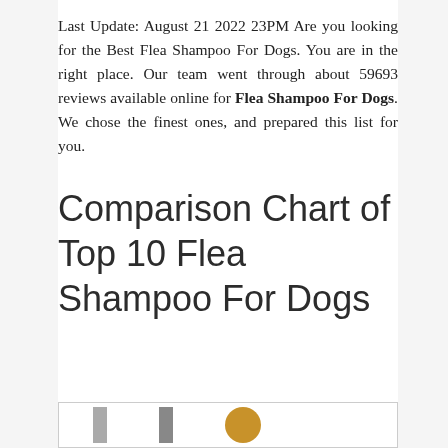Last Update: August 21 2022 23PM Are you looking for the Best Flea Shampoo For Dogs. You are in the right place. Our team went through about 59693 reviews available online for Flea Shampoo For Dogs. We chose the finest ones, and prepared this list for you.
Comparison Chart of Top 10 Flea Shampoo For Dogs
[Figure (table-as-image): Partial view of a comparison table showing product images for top 10 flea shampoo for dogs, with product thumbnails visible at the bottom of the page.]